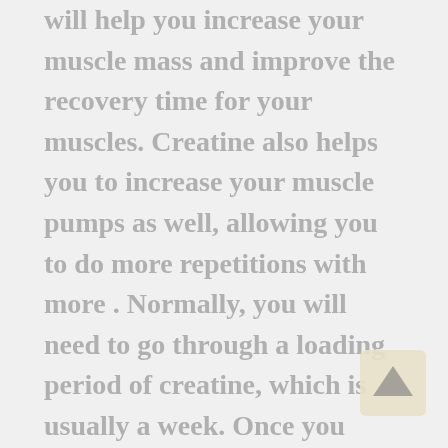will help you increase your muscle mass and improve the recovery time for your muscles. Creatine also helps you to increase your muscle pumps as well, allowing you to do more repetitions with more . Normally, you will need to go through a loading period of creatine, which is usually a week. Once you have loaded it, you should use in cycles, a few weeks using it and a few weeks off. To get the most from creatine, you should always follow the instructions the manufacturer has provided on the label.
Micro-vitamins are another great supplement as they work great for those who aren't getting enough minerals and vitamins with their current diet. Micro-vitamins are also great for